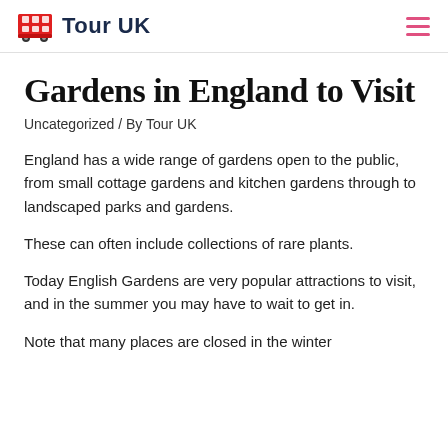Tour UK
Gardens in England to Visit
Uncategorized / By Tour UK
England has a wide range of gardens open to the public, from small cottage gardens and kitchen gardens through to landscaped parks and gardens.
These can often include collections of rare plants.
Today English Gardens are very popular attractions to visit, and in the summer you may have to wait to get in.
Note that many places are closed in the winter